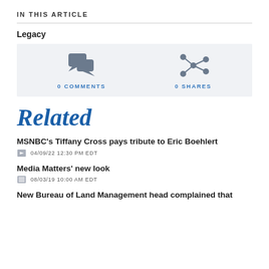IN THIS ARTICLE
Legacy
[Figure (infographic): Social sharing bar with 0 COMMENTS (chat bubble icon) and 0 SHARES (network icon) on a light grey background]
Related
MSNBC's Tiffany Cross pays tribute to Eric Boehlert
04/09/22 12:30 PM EDT
Media Matters' new look
08/03/19 10:00 AM EDT
New Bureau of Land Management head complained that